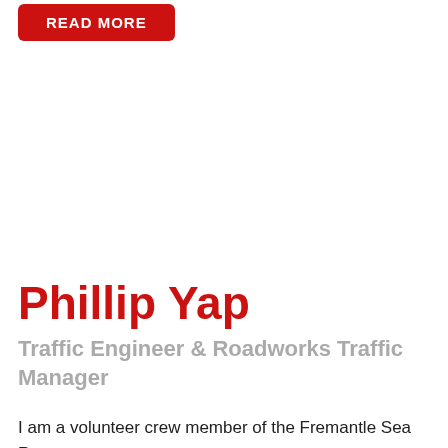[Figure (other): Red 'READ MORE' button]
Phillip Yap
Traffic Engineer & Roadworks Traffic Manager
I am a volunteer crew member of the Fremantle Sea Rescue